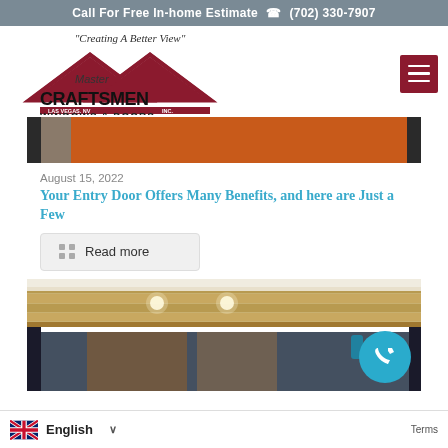Call For Free In-home Estimate  ✆ (702) 330-7907
[Figure (logo): Master Craftsmen Windows & Doors logo with house/roof graphic and tagline 'Creating A Better View', Las Vegas NV Inc.]
[Figure (photo): Close-up photo of a modern entry door in orange/red tones with dark frame]
August 15, 2022
Your Entry Door Offers Many Benefits, and here are Just a Few
Read more
[Figure (photo): Modern architectural canopy/overhang with warm wood ceiling and recessed lighting above glass entry doors]
English   Terms